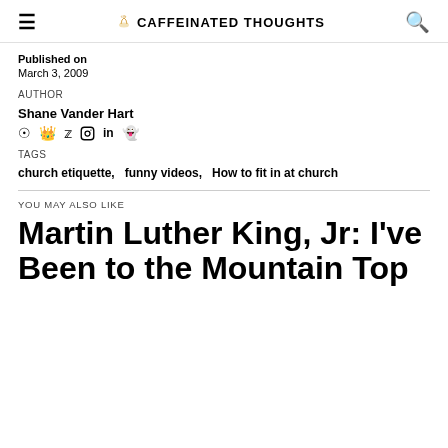≡  CAFFEINATED THOUGHTS  🔍
Published on
March 3, 2009
AUTHOR
Shane Vander Hart
TAGS
church etiquette,   funny videos,   How to fit in at church
YOU MAY ALSO LIKE
Martin Luther King, Jr: I've Been to the Mountain Top